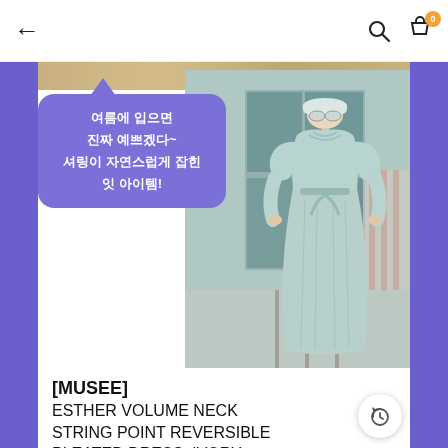← [back] [search] [cart 0]
[Figure (photo): Fashion product photo: woman model wearing a light blue/mint long pleated dress with volume neck and string tie, white hat and sunglasses, outdoor setting]
여름에 입으면 진짜 예쁘겠다~ 셔링이 자연스럽게 잡힌 잇 아이템!
[MUSEE]
ESTHER VOLUME NECK STRING POINT REVERSIBLE PLEATED DRESS_IVORY
shop →